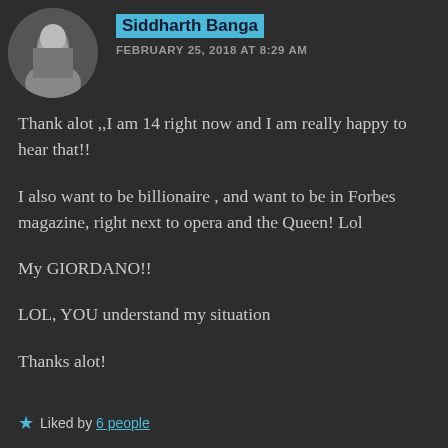[Figure (photo): Circular avatar photo of a young man looking down, dark background]
Siddharth Banga
FEBRUARY 25, 2018 AT 8:29 AM
Thank alot ,,I am 14 right now and I am really happy to hear that!!
I also want to be billionaire , and want to be in Forbes magazine, right next to opera and the Queen! Lol
My GIORDANO!!
LOL, YOU understand my situation
Thanks alot!
Liked by 6 people